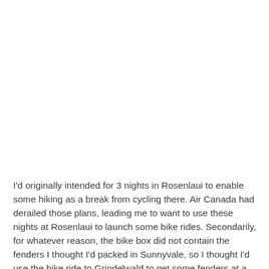I'd originally intended for 3 nights in Rosenlaui to enable some hiking as a break from cycling there. Air Canada had derailed those plans, leading me to want to use these nights at Rosenlaui to launch some bike rides. Secondarily, for whatever reason, the bike box did not contain the fenders I thought I'd packed in Sunnyvale, so I thought I'd use the bike ride to Grindelwald to get some fenders at a bike shop I knew there. Furthermore, Hina was missing long fingered gloves, and Arturo's jacket was so well-used that it was no